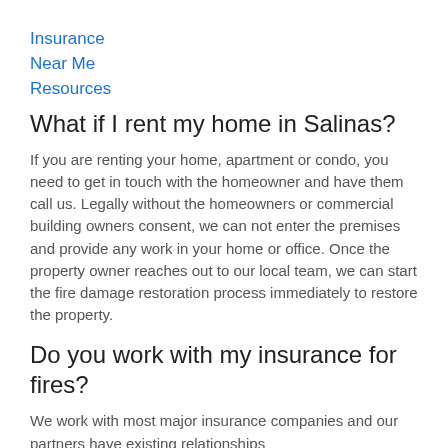Insurance
Near Me
Resources
What if I rent my home in Salinas?
If you are renting your home, apartment or condo, you need to get in touch with the homeowner and have them call us. Legally without the homeowners or commercial building owners consent, we can not enter the premises and provide any work in your home or office. Once the property owner reaches out to our local team, we can start the fire damage restoration process immediately to restore the property.
Do you work with my insurance for fires?
We work with most major insurance companies and our partners have existing relationships